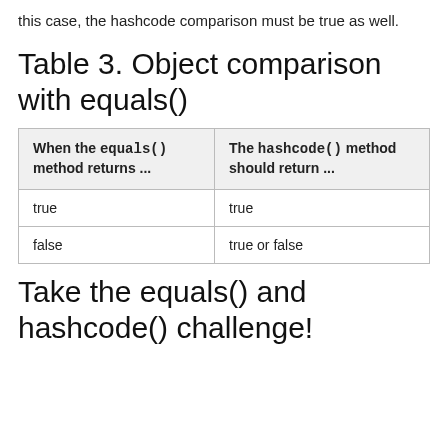this case, the hashcode comparison must be true as well.
Table 3. Object comparison with equals()
| When the equals() method returns ... | The hashcode() method should return ... |
| --- | --- |
| true | true |
| false | true or false |
Take the equals() and hashcode() challenge!